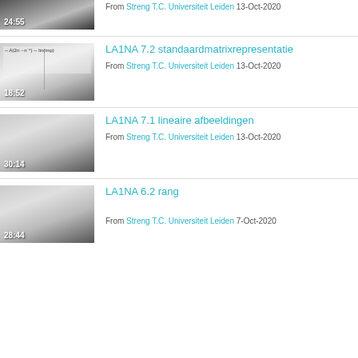[Figure (screenshot): Video thumbnail with duration 24:55, grayscale gradient]
From Streng T.C. Universiteit Leiden 13-Oct-2020
[Figure (screenshot): Video thumbnail with duration 18:52, whiteboard image]
LA1NA 7.2 standaardmatrixrepresentatie
From Streng T.C. Universiteit Leiden 13-Oct-2020
[Figure (screenshot): Video thumbnail with duration 30:14, grayscale gradient]
LA1NA 7.1 lineaire afbeeldingen
From Streng T.C. Universiteit Leiden 13-Oct-2020
[Figure (screenshot): Video thumbnail with duration 28:44, grayscale gradient]
LA1NA 6.2 rang
From Streng T.C. Universiteit Leiden 7-Oct-2020